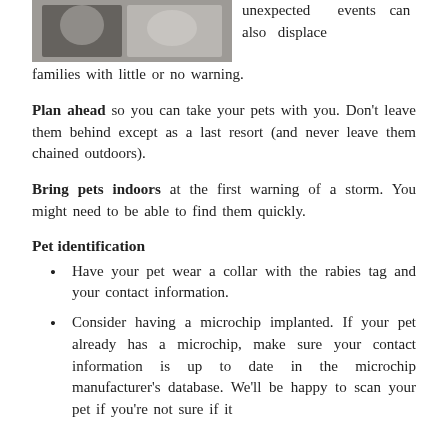[Figure (photo): Photo of people with pets at top left of page]
unexpected events can also displace families with little or no warning.
Plan ahead so you can take your pets with you. Don't leave them behind except as a last resort (and never leave them chained outdoors).
Bring pets indoors at the first warning of a storm. You might need to be able to find them quickly.
Pet identification
Have your pet wear a collar with the rabies tag and your contact information.
Consider having a microchip implanted. If your pet already has a microchip, make sure your contact information is up to date in the microchip manufacturer's database. We'll be happy to scan your pet if you're not sure if it